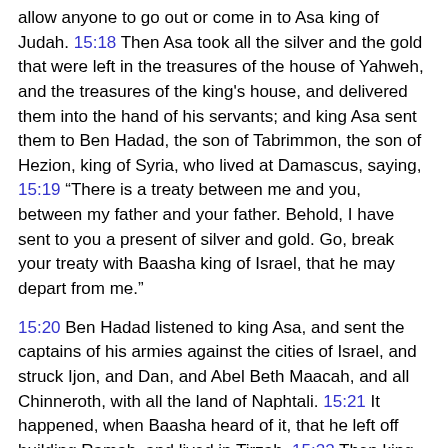allow anyone to go out or come in to Asa king of Judah. 15:18 Then Asa took all the silver and the gold that were left in the treasures of the house of Yahweh, and the treasures of the king's house, and delivered them into the hand of his servants; and king Asa sent them to Ben Hadad, the son of Tabrimmon, the son of Hezion, king of Syria, who lived at Damascus, saying, 15:19 “There is a treaty between me and you, between my father and your father. Behold, I have sent to you a present of silver and gold. Go, break your treaty with Baasha king of Israel, that he may depart from me.”
15:20 Ben Hadad listened to king Asa, and sent the captains of his armies against the cities of Israel, and struck Ijon, and Dan, and Abel Beth Maacah, and all Chinneroth, with all the land of Naphtali. 15:21 It happened, when Baasha heard of it, that he left off building Ramah, and lived in Tirzah. 15:22 Then king Asa made a proclamation to all Judah; none was exempted: and they carried away the stones of Ramah, and its timber, with which Baasha had built; and king Asa built therewith Geba of Benjamin, and Mizpah. 15:23 Now the rest of all the acts of Asa, and all his might, and all that he did, and the cities which he built, aren't they written in the book of the chronicles of the kings of Judah? But in the time of his old